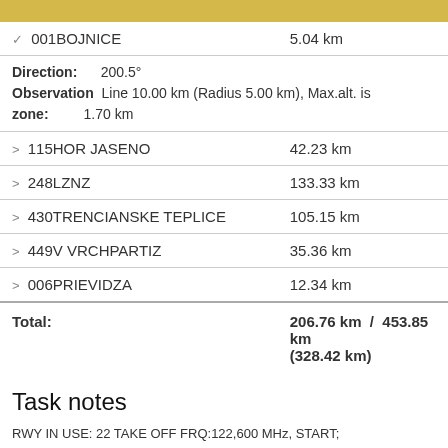| Location | Distance |
| --- | --- |
| 001BOJNICE | 5.04 km |
| Direction: 200.5° | Observation zone: Line 10.00 km (Radius 5.00 km), Max.alt. is 1.70 km |  |
| 115HOR JASENO | 42.23 km |
| 248LZNZ | 133.33 km |
| 430TRENCIANSKE TEPLICE | 105.15 km |
| 449V VRCHPARTIZ | 35.36 km |
| 006PRIEVIDZA | 12.34 km |
| Total: | 206.76 km / 453.85 km (328.42 km) |
Task notes
RWY IN USE: 22 TAKE OFF FRQ:122,600 MHz, START; FINISH,LANDING FRQ: 123.055 MHz; GRID Opened 8:15 LT; GRID